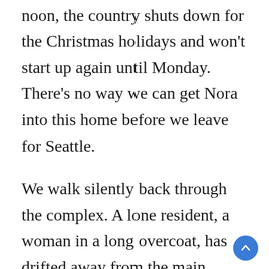noon, the country shuts down for the Christmas holidays and won't start up again until Monday. There's no way we can get Nora into this home before we leave for Seattle.
We walk silently back through the complex. A lone resident, a woman in a long overcoat, has drifted away from the main patios and is standing at the gate, looking out at the road.
After we get back to our hotel room, we ar... delighted when Lili calls to say we can bring...